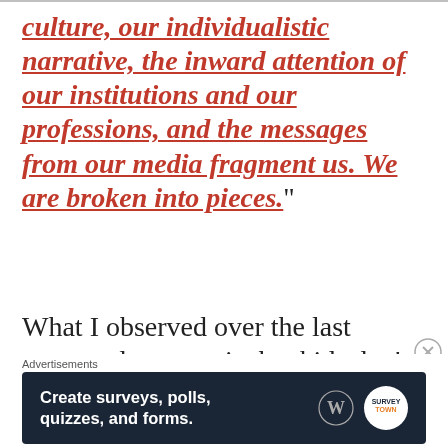culture, our individualistic narrative, the inward attention of our institutions and our professions, and the messages from our media fragment us. We are broken into pieces.”
What I observed over the last twenty plus years is that kids don’t seem to actually individuate nor become independent. It may not be for lack of
Advertisements
[Figure (other): Advertisement banner for a survey/forms tool: dark navy background with text 'Create surveys, polls, quizzes, and forms.' alongside WordPress and Crown icons.]